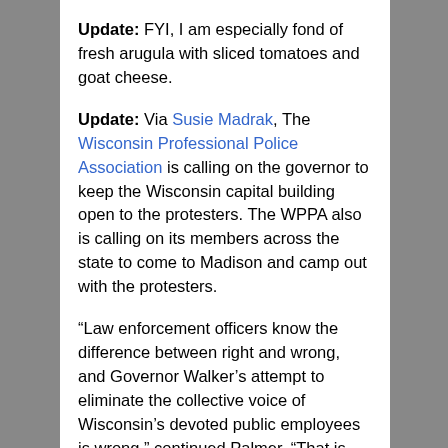Update: FYI, I am especially fond of fresh arugula with sliced tomatoes and goat cheese.
Update: Via Susie Madrak, The Wisconsin Professional Police Association is calling on the governor to keep the Wisconsin capital building open to the protesters. The WPPA also is calling on its members across the state to come to Madison and camp out with the protesters.
“Law enforcement officers know the difference between right and wrong, and Governor Walker’s attempt to eliminate the collective voice of Wisconsin’s devoted public employees is wrong,” continued Palmer. “That is why we have stood with